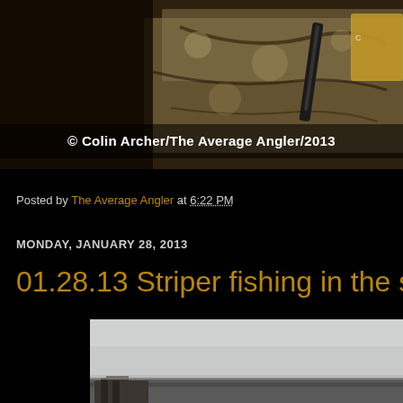[Figure (photo): Top portion of a blog page showing a photograph of fishing-related items on a granite countertop with a copyright watermark overlay reading '© Colin Archer/The Average Angler/2013']
© Colin Archer/The Average Angler/2013
Posted by The Average Angler at 6:22 PM
MONDAY, JANUARY 28, 2013
01.28.13 Striper fishing in the sn
[Figure (photo): Bottom portion showing a misty/snowy outdoor scene, appears to be a waterway or shoreline in winter conditions]